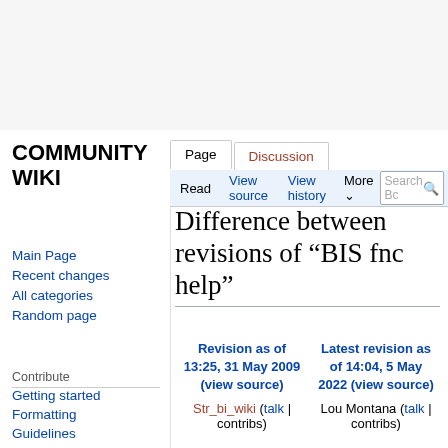COMMUNITY WIKI
Page | Discussion | Read | View source | View history | More
Difference between revisions of "BIS fnc help"
Main Page
Recent changes
All categories
Random page
Contribute
Getting started
Formatting
Guidelines
Wiki Maintenance
Templates Overview
| Revision as of 13:25, 31 May 2009 (view source) | Latest revision as of 14:04, 5 May 2022 (view source) |
| --- | --- |
| Str_bi_wiki (talk | contribs) | Lou Montana (talk | contribs) |